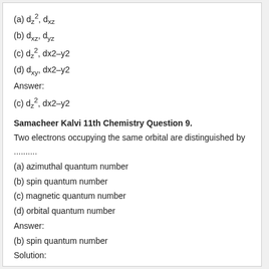(a) dz2, dxz
(b) dxz, dyz
(c) dz2, dx2-y2
(d) dxy, dx2-y2
Answer:
(c) dz2, dx2-y2
Samacheer Kalvi 11th Chemistry Question 9.
Two electrons occupying the same orbital are distinguished by
..........
(a) azimuthal quantum number
(b) spin quantum number
(c) magnetic quantum number
(d) orbital quantum number
Answer:
(b) spin quantum number
Solution:
Spin quantum number For the first electron ms = +12
For the second electron ms = −12.